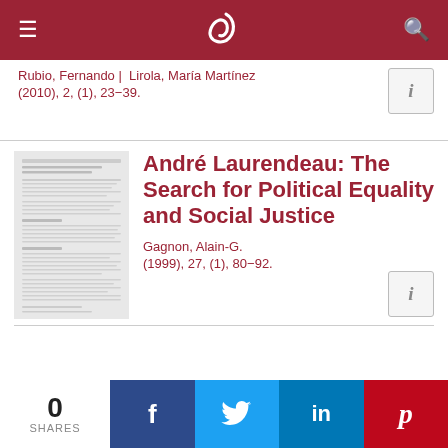Rubio, Fernando | Lirola, María Martínez
(2010), 2, (1), 23–39.
André Laurendeau: The Search for Political Equality and Social Justice
Gagnon, Alain-G.
(1999), 27, (1), 80–92.
[Figure (other): Thumbnail of article page for André Laurendeau paper]
0 SHARES | Facebook | Twitter | LinkedIn | Pinterest